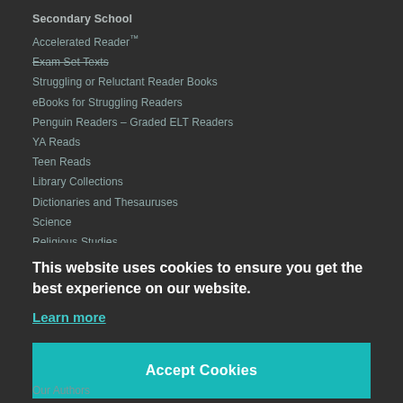Secondary School
Accelerated Reader™
Exam Set Texts
Struggling or Reluctant Reader Books
eBooks for Struggling Readers
Penguin Readers – Graded ELT Readers
YA Reads
Teen Reads
Library Collections
Dictionaries and Thesauruses
Science
Religious Studies
Famous Figures Posters
This website uses cookies to ensure you get the best experience on our website.
Learn more
Accept Cookies
Our Authors